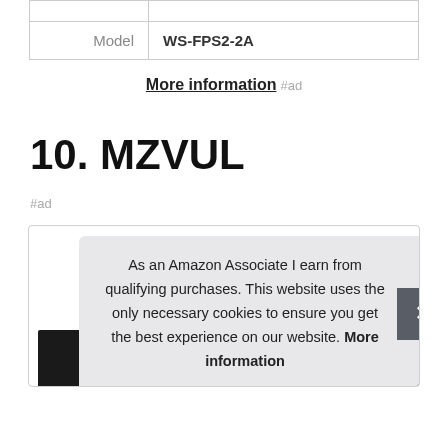| Model | WS-FPS2-2A |
More information #ad
10. MZVUL
#ad
As an Amazon Associate I earn from qualifying purchases. This website uses the only necessary cookies to ensure you get the best experience on our website. More information
[Figure (photo): Product images row at the bottom of the page, partially visible, dark colored products.]